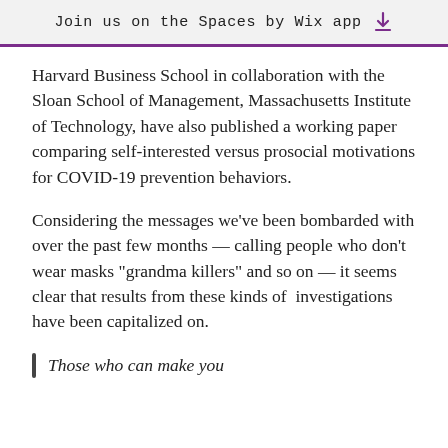Join us on the Spaces by Wix app
Harvard Business School in collaboration with the Sloan School of Management, Massachusetts Institute of Technology, have also published a working paper comparing self-interested versus prosocial motivations for COVID-19 prevention behaviors.
Considering the messages we’ve been bombarded with over the past few months — calling people who don’t wear masks “grandma killers” and so on — it seems clear that results from these kinds of  investigations have been capitalized on.
Those who can make you